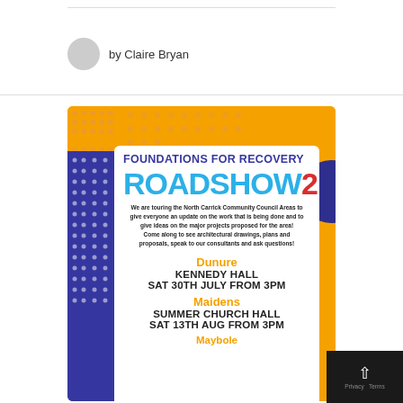by Claire Bryan
[Figure (infographic): Foundations for Recovery Roadshow 2 promotional flyer with orange background, blue and white design. Lists events in Dunure at Kennedy Hall Sat 30th July from 3PM and Maidens at Summer Church Hall Sat 13th Aug from 3PM.]